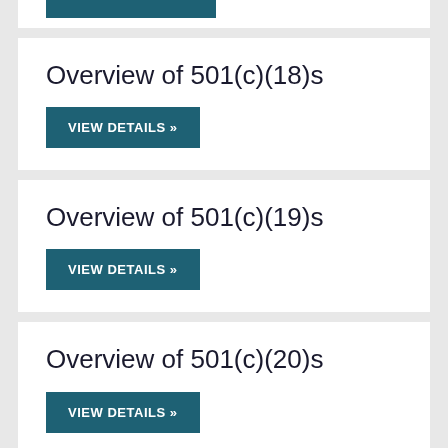[Figure (other): Teal/dark blue button stub visible at top of page (partial card from previous section)]
Overview of 501(c)(18)s
VIEW DETAILS »
Overview of 501(c)(19)s
VIEW DETAILS »
Overview of 501(c)(20)s
VIEW DETAILS »